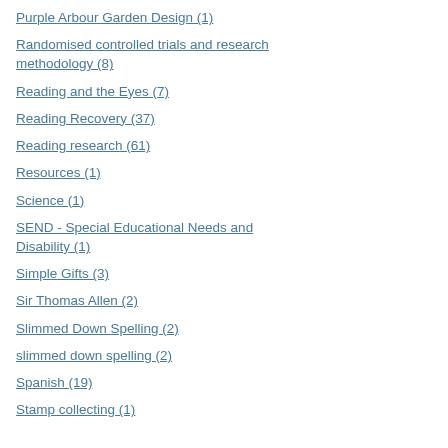Purple Arbour Garden Design (1)
Randomised controlled trials and research methodology (8)
Reading and the Eyes (7)
Reading Recovery (37)
Reading research (61)
Resources (1)
Science (1)
SEND - Special Educational Needs and Disability (1)
Simple Gifts (3)
Sir Thomas Allen (2)
Slimmed Down Spelling (2)
slimmed down spelling (2)
Spanish (19)
Stamp collecting (1)